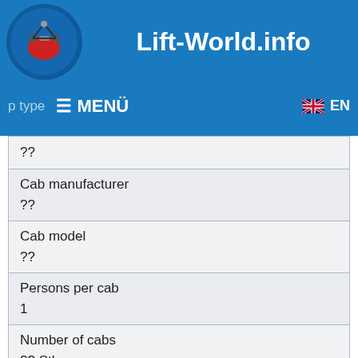Lift-World.info
| ?? |
| Cab manufacturer | ?? |
| Cab model | ?? |
| Persons per cab | 1 |
| Number of cabs | ?? Stk |
rope data